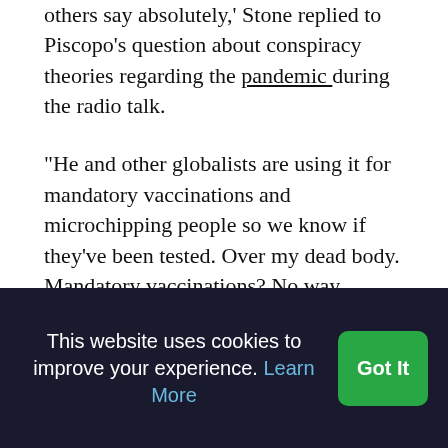others say absolutely,' Stone replied to Piscopo's question about conspiracy theories regarding the pandemic during the radio talk.
“He and other globalists are using it for mandatory vaccinations and microchipping people so we know if they’ve been tested. Over my dead body. Mandatory vaccinations? No way, Jose!” Stone told a fawning Piscopo, who referred to President Trump’s longtime adviser as “a legend.”
Shortly after the disease started taking lives, video and audio spread on Facebook, Twitter and WhatsApp, claiming that the introduction of 5G...
This website uses cookies to improve your experience. Learn More